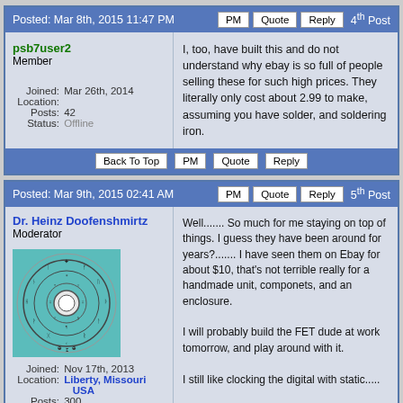Posted: Mar 8th, 2015 11:47 PM | PM | Quote | Reply | 4th Post
psb7user2
Member
Joined: Mar 26th, 2014
Location:
Posts: 42
Status: Offline
I, too, have built this and do not understand why ebay is so full of people selling these for such high prices. They literally only cost about 2.99 to make, assuming you have solder, and soldering iron.
Back To Top | PM | Quote | Reply
Posted: Mar 9th, 2015 02:41 AM | PM | Quote | Reply | 5th Post
Dr. Heinz Doofenshmirtz
Moderator
Joined: Nov 17th, 2013
Location: Liberty, Missouri USA
Posts: 300
Status: Offline
[Figure (illustration): Circular avatar image with runic/symbolic characters arranged in a circle around a center disc, teal/cyan background]
Well....... So much for me staying on top of things. I guess they have been around for years?....... I have seen them on Ebay for about $10, that's not terrible really for a handmade unit, componets, and an enclosure.

I will probably build the FET dude at work tomorrow, and play around with it.

I still like clocking the digital with static.....

I kind of want to buy this "for my kid", to play around with. Pretty neat. Mini Van De Graaf.

http://www.allelectronics.com/make-a-store/item/ark-407/static-shocker-kit-for...